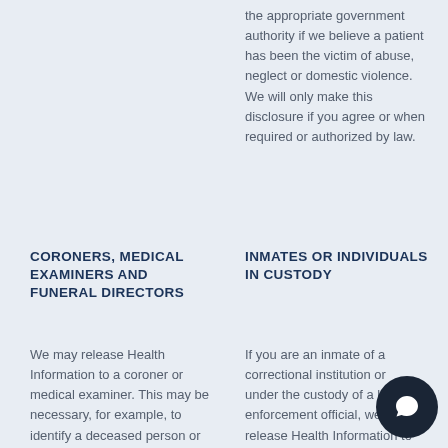the appropriate government authority if we believe a patient has been the victim of abuse, neglect or domestic violence. We will only make this disclosure if you agree or when required or authorized by law.
CORONERS, MEDICAL EXAMINERS AND FUNERAL DIRECTORS
We may release Health Information to a coroner or medical examiner. This may be necessary, for example, to identify a deceased person or determine the
INMATES OR INDIVIDUALS IN CUSTODY
If you are an inmate of a correctional institution or under the custody of a law enforcement official, we may release Health Information to the